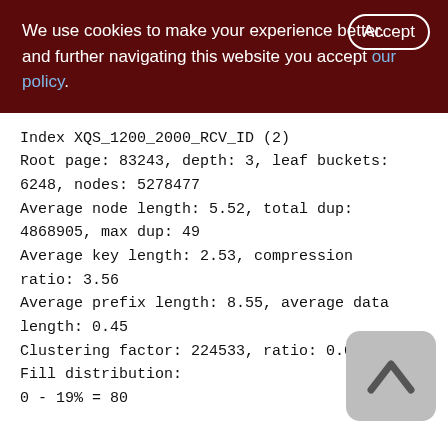We use cookies to make your experience better. By accepting and further navigating this website you accept our policy.
Index XQS_1200_2000_RCV_ID (2)
Root page: 83243, depth: 3, leaf buckets: 6248, nodes: 5278477
Average node length: 5.52, total dup: 4868905, max dup: 49
Average key length: 2.53, compression ratio: 3.56
Average prefix length: 8.55, average data length: 0.45
Clustering factor: 224533, ratio: 0.04
Fill distribution:
0 - 19% = 80